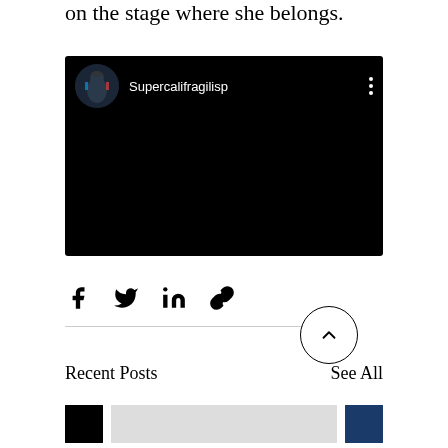on the stage where she belongs.
[Figure (screenshot): Embedded video player with black background showing channel avatar and title 'Supercalifragilisp' with three-dot menu icon]
[Figure (infographic): Social share icons: Facebook, Twitter, LinkedIn, and link/chain icon]
[Figure (infographic): Circular back-to-top arrow button]
Recent Posts
See All
[Figure (photo): Row of three post thumbnails: a black square, a person photo, and a blue/colored square]